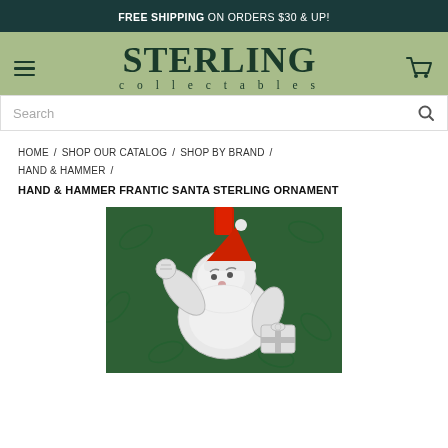FREE SHIPPING ON ORDERS $30 & UP!
[Figure (logo): Sterling Collectables logo with hamburger menu and cart icon on sage green background]
Search
HOME / SHOP OUR CATALOG / SHOP BY BRAND / HAND & HAMMER /
HAND & HAMMER FRANTIC SANTA STERLING ORNAMENT
[Figure (photo): Sterling silver Hand & Hammer Frantic Santa ornament on dark green background with red ribbon hanger]